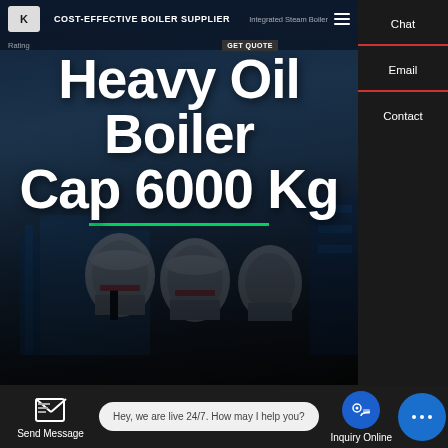COST-EFFECTIVE BOILER SUPPLIER
Heavy Oil Boiler
Cap 6000 Kg
[Figure (screenshot): Hero banner showing industrial boilers with blue lighting in a warehouse/factory setting, overlaid with large white bold text 'Heavy Oil Boiler Cap 6000 Kg']
Heavy Oil Boiler Cap 6000 Kg
Chat
Email
Contact
Contact us now!
HOT NEWS
Hey, we are live 24/7. How may I help you?
Send Message
Inquiry Online